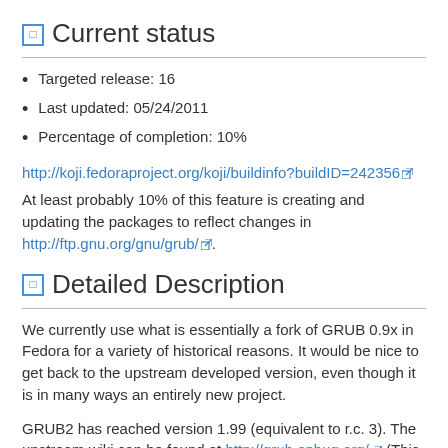Current status
Targeted release: 16
Last updated: 05/24/2011
Percentage of completion: 10%
http://koji.fedoraproject.org/koji/buildinfo?buildID=242356
At least probably 10% of this feature is creating and updating the packages to reflect changes in http://ftp.gnu.org/gnu/grub/.
Detailed Description
We currently use what is essentially a fork of GRUB 0.9x in Fedora for a variety of historical reasons. It would be nice to get back to the upstream developed version, even though it is in many ways an entirely new project.
GRUB2 has reached version 1.99 (equivalent to r.c. 3). The upstream wiki can be found at http://grub.enbug.org/ (This was down for me so http://www.gnu.org/software/grub/.)